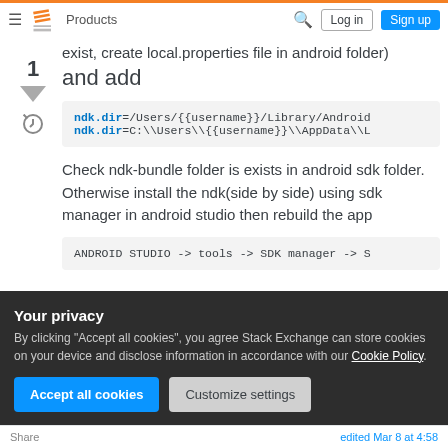≡  [StackOverflow logo]  Products  🔍  Log in  Sign up
exist, create local.properties file in android folder) and add
[Figure (screenshot): Code block showing: ndk.dir=/Users/{{username}}/Library/Android  ndk.dir=C:\\Users\\{{username}}\\AppData\\L]
Check ndk-bundle folder is exists in android sdk folder. Otherwise install the ndk(side by side) using sdk manager in android studio then rebuild the app
[Figure (screenshot): Code block showing: ANDROID STUDIO -> tools -> SDK manager -> S]
Your privacy
By clicking "Accept all cookies", you agree Stack Exchange can store cookies on your device and disclose information in accordance with our Cookie Policy.
Accept all cookies  Customize settings
Share    edited Mar 8 at 4:58